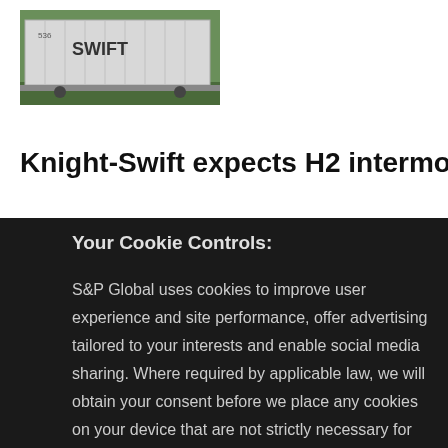[Figure (photo): A white Swift intermodal container on what appears to be a rail car, with green foliage in the background and the Swift logo visible on the container.]
Knight-Swift expects H2 intermodal
Your Cookie Controls:
S&P Global uses cookies to improve user experience and site performance, offer advertising tailored to your interests and enable social media sharing. Where required by applicable law, we will obtain your consent before we place any cookies on your device that are not strictly necessary for the functioning of our websites. By clicking "Accept All Cookies", you agree to our use of cookies. Learn about our cookies and how to modify your